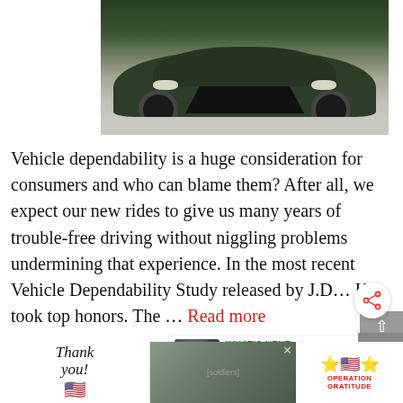[Figure (photo): Green/dark Lexus SUV photographed from the front, parked on a light-colored surface, with greenery/trees in the background]
Vehicle dependability is a huge consideration for consumers and who can blame them? After all, we expect our new rides to give us many years of trouble-free driving without niggling problems undermining that experience. In the most recent Vehicle Dependability Study released by J.D... Kia took top honors. The ... Read more
[Figure (infographic): Advertisement banner: 'Thank you' with American flag imagery and Operation Gratitude logo with soldiers in background]